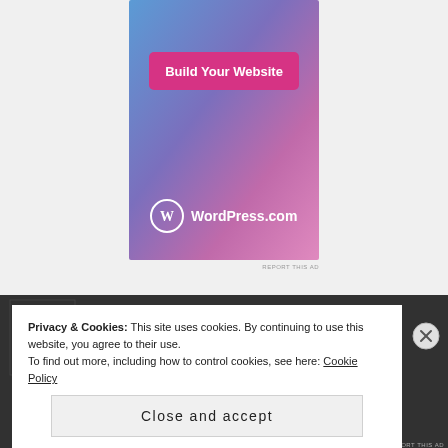[Figure (illustration): WordPress.com advertisement banner with gradient background (blue to pink/purple), showing a pink 'Build Your Website' button and the WordPress.com logo at the bottom.]
REPORT THIS AD
[Figure (photo): Dark background section showing a dimly lit outdoor scene.]
Privacy & Cookies: This site uses cookies. By continuing to use this website, you agree to their use.
To find out more, including how to control cookies, see here: Cookie Policy
Close and accept
REPORT THIS AD